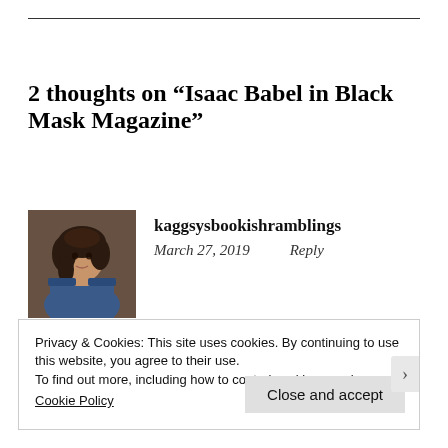2 thoughts on “Isaac Babel in Black Mask Magazine”
[Figure (photo): Avatar image of kaggsysbookishramblings commenter, showing a painting of a woman with dark curly hair in blue clothing]
kaggsysbookishramblings
March 27, 2019    Reply
Privacy & Cookies: This site uses cookies. By continuing to use this website, you agree to their use.
To find out more, including how to control cookies, see here:
Cookie Policy
Close and accept